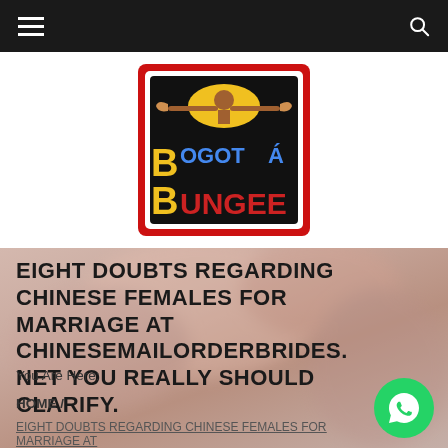Navigation bar with hamburger menu and search icon
[Figure (logo): Bogotá Bungee logo: red-bordered square with black background, figure with outstretched arms above colorful text 'BOGOTÁ BUNGEE' in yellow, blue, and red lettering]
[Figure (photo): Close-up blurred photo of skin/fingers in warm pinkish-beige tones serving as hero background]
EIGHT DOUBTS REGARDING CHINESE FEMALES FOR MARRIAGE AT CHINESEMAILORDERBRIDES. NET YOU REALLY SHOULD CLARIFY.
You Are Here:
HOME /
EIGHT DOUBTS REGARDING CHINESE FEMALES FOR MARRIAGE AT